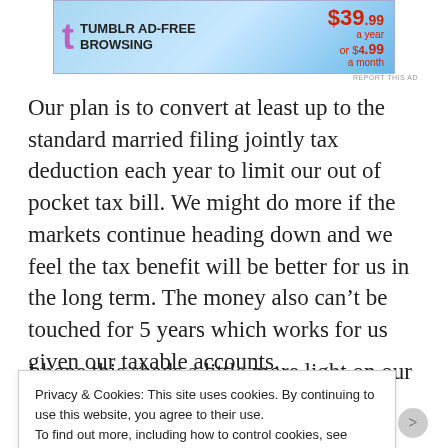[Figure (illustration): Tumblr Ad-Free Browsing advertisement banner showing Tumblr logo, text 'TUMBLR AD-FREE BROWSING', and pricing $39.99 a year or $4.99 a month]
Our plan is to convert at least up to the standard married filing jointly tax deduction each year to limit our out of pocket tax bill. We might do more if the markets continue heading down and we feel the tax benefit will be better for us in the long term. The money also can't be touched for 5 years which works for us given our taxable accounts.
I hope this sheds a little more light on our process
Privacy & Cookies: This site uses cookies. By continuing to use this website, you agree to their use.
To find out more, including how to control cookies, see here: Cookie Policy